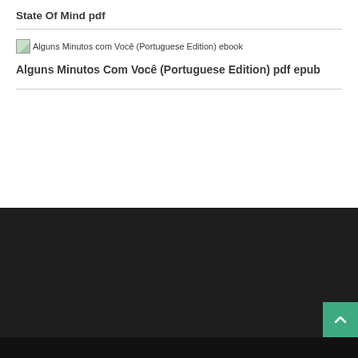State Of Mind pdf
[Figure (other): Broken image placeholder for 'Alguns Minutos com Você (Portuguese Edition) ebook']
Alguns Minutos Com Você (Portuguese Edition) pdf epub
Back to top button